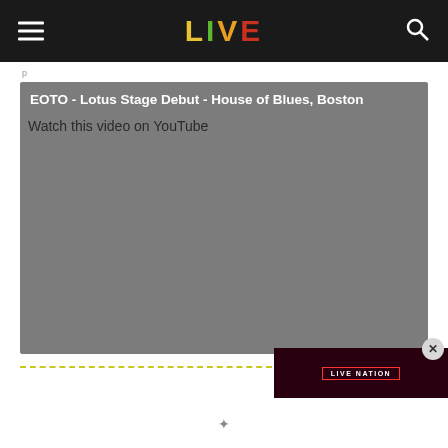LIVE (navigation bar with hamburger menu and search icon)
[Figure (screenshot): YouTube video embed showing 'EOTO - Lotus Stage Debut - House of Blues, Boston' with gray placeholder background and text 'Watch this video on YouTube']
[Figure (screenshot): Live Nation advertisement banner on dark red/maroon background with 'LIVE NATION' text in white bordered box]
Watch this video on YouTube